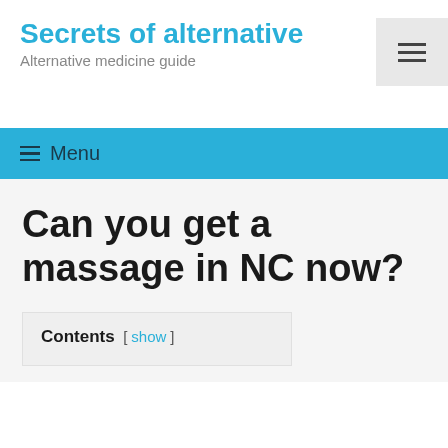Secrets of alternative
Alternative medicine guide
≡ Menu
Can you get a massage in NC now?
Contents [ show ]